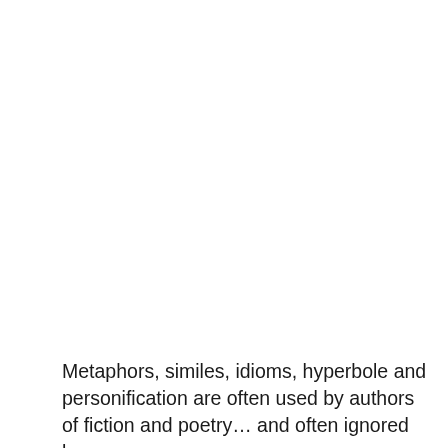Metaphors, similes, idioms, hyperbole and personification are often used by authors of fiction and poetry… and often ignored by